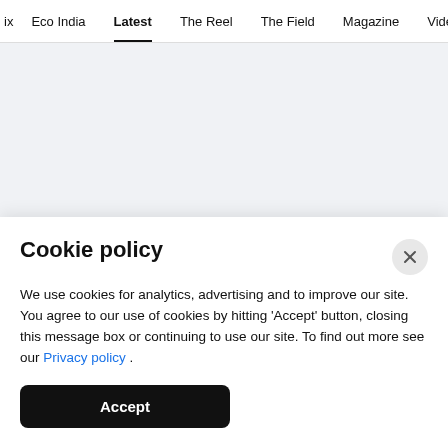ix   Eco India   Latest   The Reel   The Field   Magazine   Vide
[Figure (photo): Light gray placeholder area representing an image of a pedestrian walking past a wall mural depicting medical staff as frontline Covid-19 coronavirus warriors in Mumbai.]
A pedestrian walks past a wall mural depicting medical staff as frontline Covid-19 coronavirus warriors in Mumbai. | Indranil Mukherjee / AFP
Cookie policy
We use cookies for analytics, advertising and to improve our site. You agree to our use of cookies by hitting ‘Accept’ button, closing this message box or continuing to use our site. To find out more see our Privacy policy .
Accept